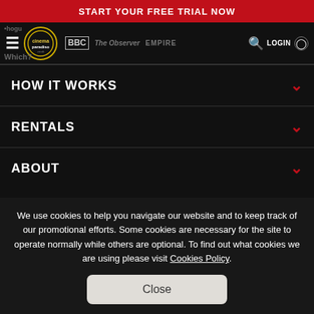START YOUR FREE TRIAL NOW
[Figure (logo): Cinema Paradiso logo with circle emblem, BBC logo, The Observer logo, EMPIRE logo, navigation icons and LOGIN button]
HOW IT WORKS
RENTALS
ABOUT
We use cookies to help you navigate our website and to keep track of our promotional efforts. Some cookies are necessary for the site to operate normally while others are optional. To find out what cookies we are using please visit Cookies Policy.
Close